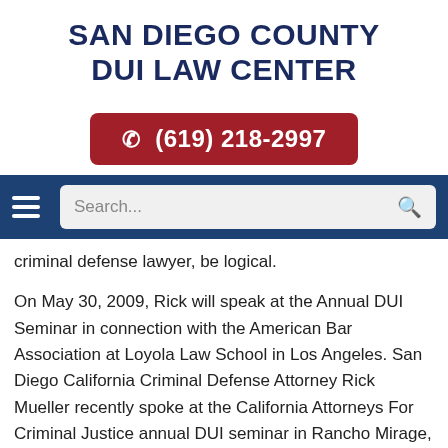SAN DIEGO COUNTY DUI LAW CENTER
(619) 218-2997
Search...
criminal defense lawyer, be logical.
On May 30, 2009, Rick will speak at the Annual DUI Seminar in connection with the American Bar Association at Loyola Law School in Los Angeles. San Diego California Criminal Defense Attorney Rick Mueller recently spoke at the California Attorneys For Criminal Justice annual DUI seminar in Rancho Mirage, California.